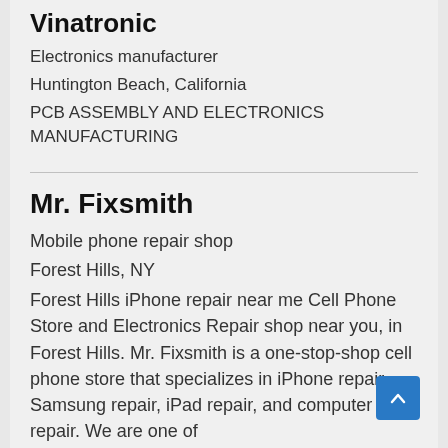Vinatronic
Electronics manufacturer
Huntington Beach, California
PCB ASSEMBLY AND ELECTRONICS MANUFACTURING
Mr. Fixsmith
Mobile phone repair shop
Forest Hills, NY
Forest Hills iPhone repair near me Cell Phone Store and Electronics Repair shop near you, in Forest Hills. Mr. Fixsmith is a one-stop-shop cell phone store that specializes in iPhone repair, Samsung repair, iPad repair, and computer repair. We are one of